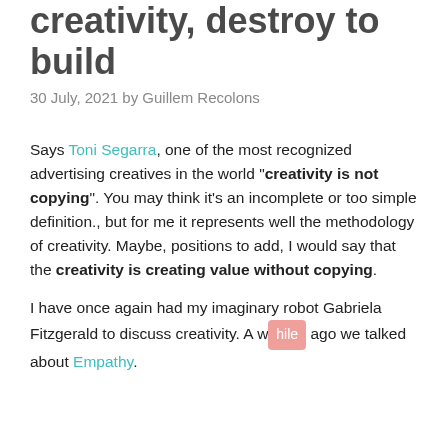creativity, destroy to build
30 July, 2021 by Guillem Recolons
Says Toni Segarra, one of the most recognized advertising creatives in the world "creativity is not copying". You may think it's an incomplete or too simple definition., but for me it represents well the methodology of creativity. Maybe, positions to add, I would say that the creativity is creating value without copying.
I have once again had my imaginary robot Gabriela Fitzgerald to discuss creativity. A while ago we talked about Empathy.